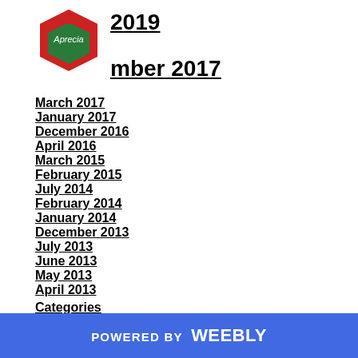[Figure (logo): Company logo - hexagonal shape with red and green colors and text]
2019
mber 2017
March 2017
January 2017
December 2016
April 2016
March 2015
February 2015
July 2014
February 2014
January 2014
December 2013
July 2013
June 2013
May 2013
April 2013
Categories
POWERED BY weebly